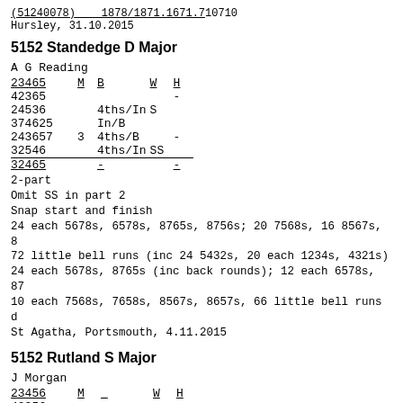(51240078)    1878/1871.1671.7 10710
Hursley, 31.10.2015
5152 Standedge D Major
A G Reading
| 23465 | M | B | W | H |
| --- | --- | --- | --- | --- |
| 42365 |  |  |  | - |
| 24536 |  | 4ths/In | S |  |
| 374625 |  | In/B |  |  |
| 243657 | 3 | 4ths/B |  | - |
| 32546 |  | 4ths/In | SS |  |
| 32465 |  | - |  | - |
2-part
Omit SS in part 2
Snap start and finish
24 each 5678s, 6578s, 8765s, 8756s; 20 7568s, 16 8567s, 8
72 little bell runs (inc 24 5432s, 20 each 1234s, 4321s)
24 each 5678s, 8765s (inc back rounds); 12 each 6578s, 87
10 each 7568s, 7658s, 8567s, 8657s, 66 little bell runs d
St Agatha, Portsmouth, 4.11.2015
5152 Rutland S Major
J Morgan
| 23456 | M |  | W | H |
| --- | --- | --- | --- | --- |
| 42356 |  |  |  | - |
| 725346 | SS | S3rds |  | 2 |
| 753346 |  |  |  | 2 |